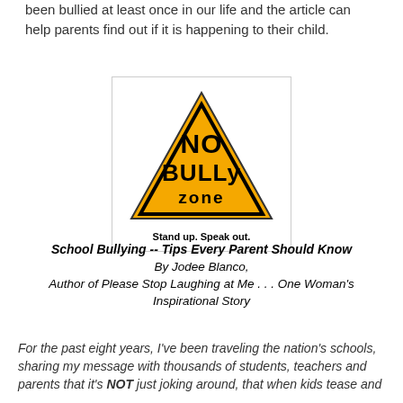been bullied at least once in our life and the article can help parents find out if it is happening to their child.
[Figure (logo): No Bully Zone logo: yellow warning triangle with black text 'NO BULLY zone' and tagline 'Stand up. Speak out.']
School Bullying -- Tips Every Parent Should Know
By Jodee Blanco,
Author of Please Stop Laughing at Me . . . One Woman's Inspirational Story
For the past eight years, I've been traveling the nation's schools, sharing my message with thousands of students, teachers and parents that it's NOT just joking around, that when kids tease and